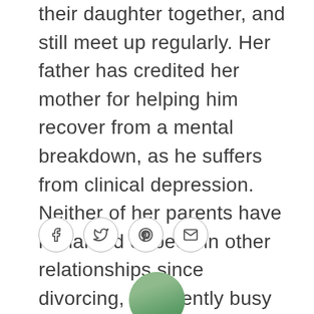their daughter together, and still meet up regularly. Her father has credited her mother for helping him recover from a mental breakdown, as he suffers from clinical depression. Neither of her parents have remarried or been in other relationships since divorcing, apparently busy with their respective careers. Her mother works primarily as a martial artist and yoga instructor.
[Figure (other): Social sharing icons: Facebook (f), Twitter (bird), Pinterest (P), Email (envelope), displayed as small circles in a row]
[Figure (photo): Circular author profile photo showing a person against a green outdoor background, cropped at bottom of page]